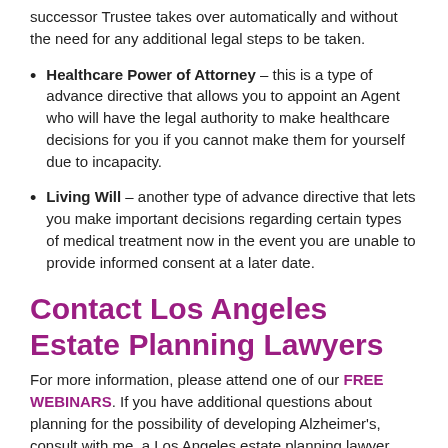successor Trustee takes over automatically and without the need for any additional legal steps to be taken.
Healthcare Power of Attorney – this is a type of advance directive that allows you to appoint an Agent who will have the legal authority to make healthcare decisions for you if you cannot make them for yourself due to incapacity.
Living Will – another type of advance directive that lets you make important decisions regarding certain types of medical treatment now in the event you are unable to provide informed consent at a later date.
Contact Los Angeles Estate Planning Lawyers
For more information, please attend one of our FREE WEBINARS. If you have additional questions about planning for the possibility of developing Alzheimer's, consult with me, a Los Angeles estate planning lawyer. Contact the Collins Law Firm by calling (310) 677-9787 to register for one of our FREE estate planning workshops.